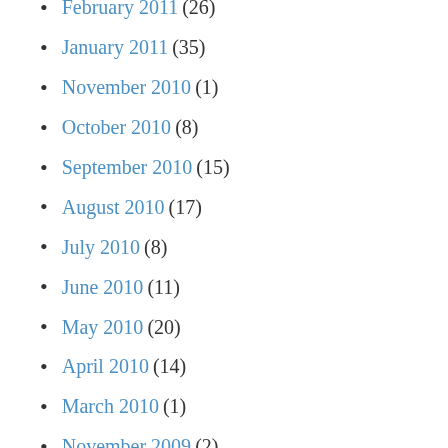February 2011 (26)
January 2011 (35)
November 2010 (1)
October 2010 (8)
September 2010 (15)
August 2010 (17)
July 2010 (8)
June 2010 (11)
May 2010 (20)
April 2010 (14)
March 2010 (1)
November 2009 (2)
October 2009 (1)
September 2009 (8)
August 2009 (5)
January 2009 (1)